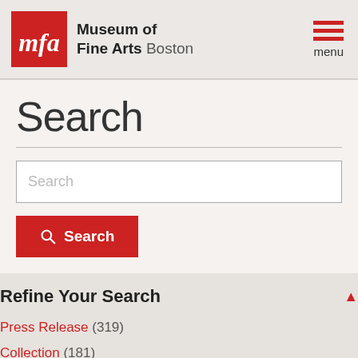[Figure (logo): Museum of Fine Arts Boston logo with red MFA square logo and text]
Search
[Figure (screenshot): Search input text box with placeholder text 'Search']
[Figure (screenshot): Red Search button with magnifying glass icon]
Refine Your Search
Press Release (319)
Collection (181)